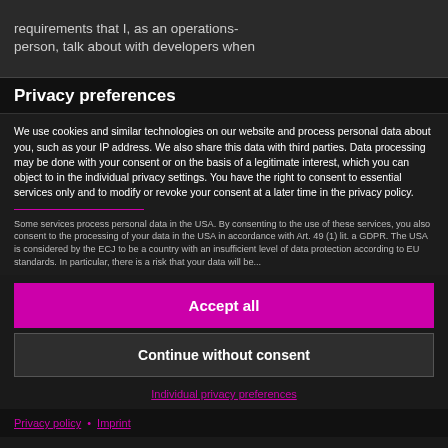requirements that I, as an operations-person, talk about with developers when
Privacy preferences
We use cookies and similar technologies on our website and process personal data about you, such as your IP address. We also share this data with third parties. Data processing may be done with your consent or on the basis of a legitimate interest, which you can object to in the individual privacy settings. You have the right to consent to essential services only and to modify or revoke your consent at a later time in the privacy policy.
Some services process personal data in the USA. By consenting to the use of these services, you also consent to the processing of your data in the USA in accordance with Art. 49 (1) lit. a GDPR. The USA is considered by the ECJ to be a country with an insufficient level of data protection according to EU standards. In particular, there is a risk that your data will be...
Accept all
Continue without consent
Individual privacy preferences
Privacy policy • Imprint